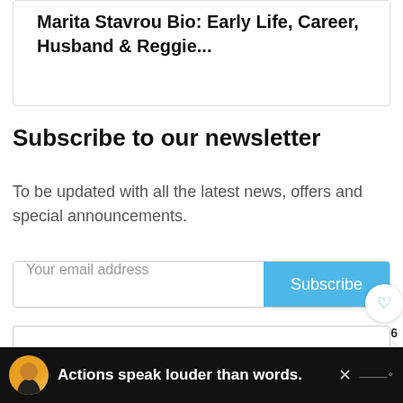Marita Stavrou Bio: Early Life, Career, Husband & Reggie...
Subscribe to our newsletter
To be updated with all the latest news, offers and special announcements.
Your email address
Subscribe
[Figure (screenshot): Advertisement banner at bottom: dark background with person in yellow hoodie and text 'Actions speak louder than words.' with a close button and logo.]